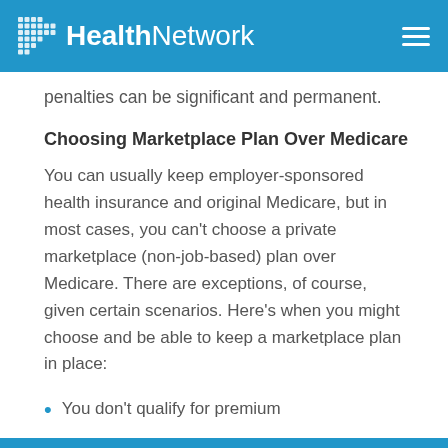HealthNetwork
penalties can be significant and permanent.
Choosing Marketplace Plan Over Medicare
You can usually keep employer-sponsored health insurance and original Medicare, but in most cases, you can’t choose a private marketplace (non-job-based) plan over Medicare. There are exceptions, of course, given certain scenarios. Here’s when you might choose and be able to keep a marketplace plan in place:
You don’t qualify for premium